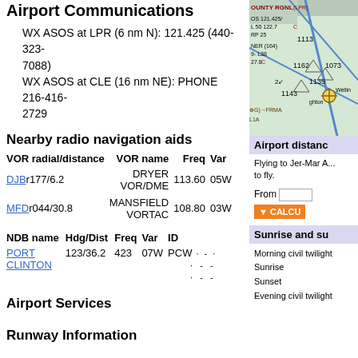Airport Communications
WX ASOS at LPR (6 nm N): 121.425 (440-323-7088)
WX ASOS at CLE (16 nm NE): PHONE 216-416-2729
Nearby radio navigation aids
| VOR radial/distance | VOR name | Freq | Var |
| --- | --- | --- | --- |
| DJBr177/6.2 | DRYER VOR/DME | 113.60 | 05W |
| MFDr044/30.8 | MANSFIELD VORTAC | 108.80 | 03W |
| NDB name | Hdg/Dist | Freq | Var | ID |
| --- | --- | --- | --- | --- |
| PORT CLINTON | 123/36.2 | 423 | 07W | PCW ·-·  |
Airport Services
Runway Information
[Figure (map): Aeronautical sectional chart map showing area near Jer-Mar Airport with navigational data, terrain elevations, and airways]
Airport distance
Flying to Jer-Mar A... to fly.
From [input] CALCU...
Sunrise and su...
Morning civil twilight
Sunrise
Sunset
Evening civil twilight